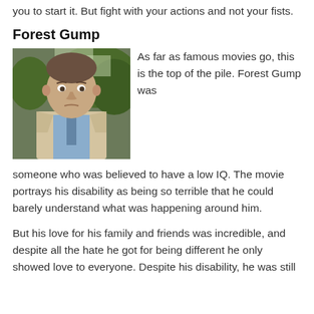you to start it. But fight with your actions and not your fists.
Forest Gump
[Figure (photo): Close-up photo of a man (Tom Hanks as Forrest Gump) wearing a light beige suit and blue shirt, with trees in the background. The image is positioned to the left with text wrapping on the right.]
As far as famous movies go, this is the top of the pile. Forest Gump was someone who was believed to have a low IQ. The movie portrays his disability as being so terrible that he could barely understand what was happening around him.
But his love for his family and friends was incredible, and despite all the hate he got for being different he only showed love to everyone. Despite his disability, he was still